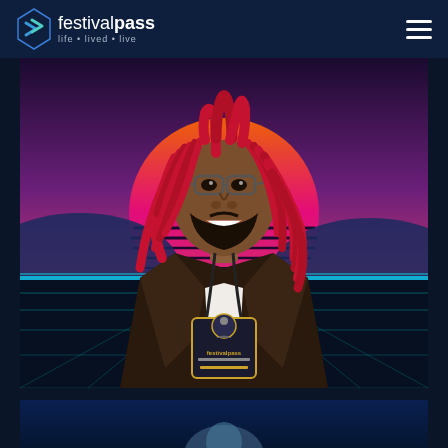festivalpass — life • lived • live
[Figure (illustration): Digital illustration of a person with red dreadlocks, glasses, dark skin, and a brown blazer over a white shirt, wearing a FestivalPass lanyard/badge around their neck. Background features a retro synthwave aesthetic with a large pink/magenta sun, purple-to-blue gradient sky, blue hills, and a glowing teal grid horizon.]
[Figure (photo): Partial view of a second image at the bottom of the page, showing what appears to be another person, partially cropped.]